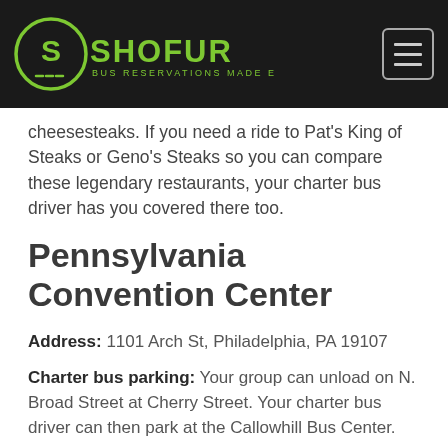[Figure (logo): Shofur logo — circular S emblem in green with 'SHOFUR BUS RESERVATIONS MADE EASY' text on dark background header]
cheesesteaks. If you need a ride to Pat's King of Steaks or Geno's Steaks so you can compare these legendary restaurants, your charter bus driver has you covered there too.
Pennsylvania Convention Center
Address: 1101 Arch St, Philadelphia, PA 19107
Charter bus parking: Your group can unload on N. Broad Street at Cherry Street. Your charter bus driver can then park at the Callowhill Bus Center.